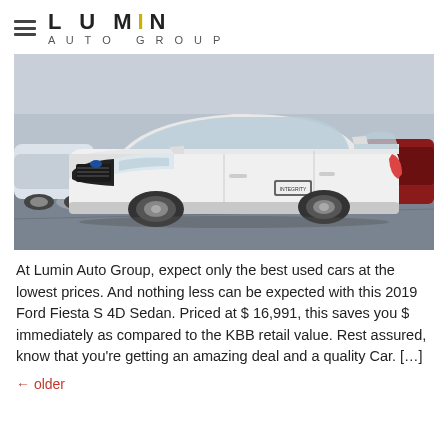LUMIN AUTO GROUP
[Figure (photo): White 2019 Ford Fiesta S 4D Sedan parked in a dealership lot, front three-quarter view, with other vehicles visible in background]
At Lumin Auto Group, expect only the best used cars at the lowest prices. And nothing less can be expected with this 2019 Ford Fiesta S 4D Sedan. Priced at $ 16,991, this saves you $ immediately as compared to the KBB retail value. Rest assured, know that you’re getting an amazing deal and a quality Car. […]
← older